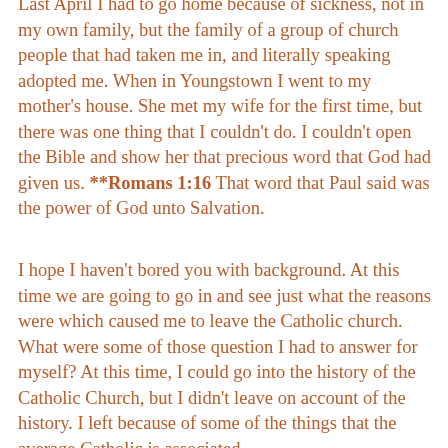Last April I had to go home because of sickness, not in my own family, but the family of a group of church people that had taken me in, and literally speaking adopted me. When in Youngstown I went to my mother's house. She met my wife for the first time, but there was one thing that I couldn't do. I couldn't open the Bible and show her that precious word that God had given us. **Romans 1:16 That word that Paul said was the power of God unto Salvation.
I hope I haven't bored you with background. At this time we are going to go in and see just what the reasons were which caused me to leave the Catholic church. What were some of those question I had to answer for myself? At this time, I could go into the history of the Catholic Church, but I didn't leave on account of the history. I left because of some of the things that the average Catholic is associated